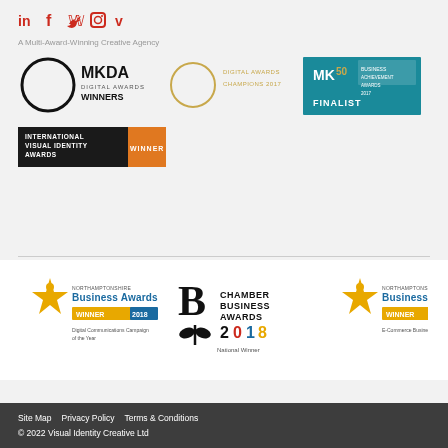[Figure (logo): Social media icons: LinkedIn, Facebook, Twitter, Instagram, Vimeo in red]
A Multi-Award-Winning Creative Agency
[Figure (logo): Award logos row 1: MKDA Digital Awards Winners, Digital Awards Champions 2017, MK50 Business Achievement Awards 2017 Finalist]
[Figure (logo): International Visual Identity Awards Winner badge]
[Figure (logo): Award logos row 2: Northamptonshire Business Awards Winner 2018 Digital Communications Campaign of the Year, Chamber Business Awards 2018 National Winner, Northamptonshire Business Awards Winner 2019 E-Commerce Business of the Year]
Site Map   Privacy Policy   Terms & Conditions
© 2022 Visual Identity Creative Ltd